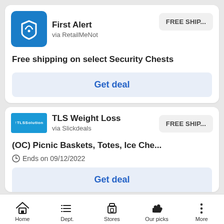[Figure (logo): First Alert brand logo - blue square with white tag icon]
First Alert
via RetailMeNot
FREE SHIP...
Free shipping on select Security Chests
Get deal
[Figure (logo): TLS Solution brand logo - blue rectangle with white text]
TLS Weight Loss
via Slickdeals
FREE SHIP...
(OC) Picnic Baskets, Totes, Ice Che...
Ends on 09/12/2022
Get deal
Home  Dept.  Stores  Our picks  More